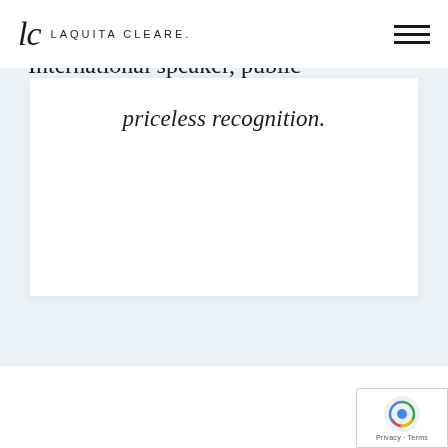lc LAQUITA CLEARE.
priceless recognition.
HI, I'M LAQUITA...
International speaker, public